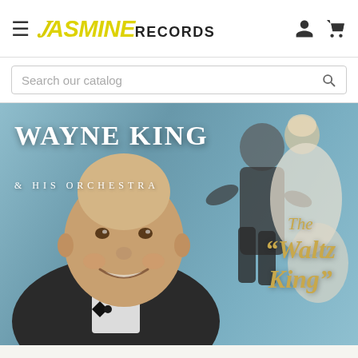Jasmine Records - website header with hamburger menu, logo, user icon, and cart icon
Search our catalog
[Figure (photo): Album cover for Wayne King & His Orchestra - The Waltz King. Shows an elderly smiling man in a tuxedo with bow tie in the foreground, with a dancing couple (man in dark suit, woman in light dress) in the background. Blue-grey background. Text reads: WAYNE KING & HIS ORCHESTRA, The Waltz King in gold italic script.]